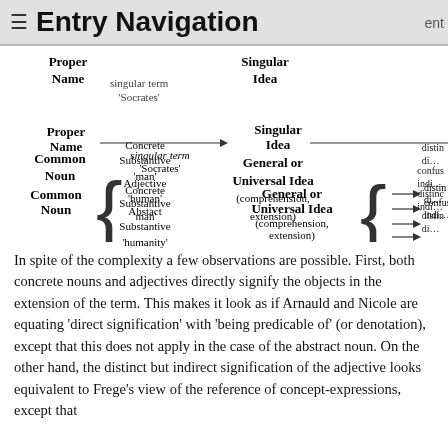≡ Entry Navigation
[Figure (flowchart): A diagram showing the relationship between Proper Name and Singular Idea (via singular term 'Socrates'), and Common Noun (with three sub-types: Concrete Substantive 'man', Adjective 'human', Abstract Substantive 'humanity') leading to General or Universal Idea (comprehension, extension), which branches into four arrows (distinc… di…, confus… indi…, distinc… indi…, distin… di…).]
In spite of the complexity a few observations are possible. First, both concrete nouns and adjectives directly signify the objects in the extension of the term. This makes it look as if Arnauld and Nicole are equating 'direct signification' with 'being predicable of' (or denotation), except that this does not apply in the case of the abstract noun. On the other hand, the distinct but indirect signification of the adjective looks equivalent to Frege's view of the reference of concept-expressions, except that